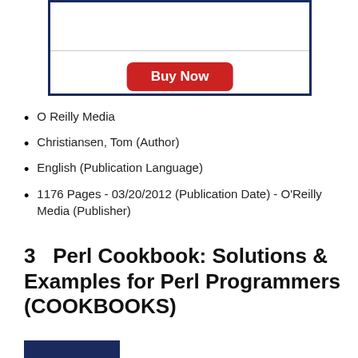[Figure (other): A box with a horizontal divider and a red Buy Now button inside]
O Reilly Media
Christiansen, Tom (Author)
English (Publication Language)
1176 Pages - 03/20/2012 (Publication Date) - O'Reilly Media (Publisher)
3   Perl Cookbook: Solutions & Examples for Perl Programmers (COOKBOOKS)